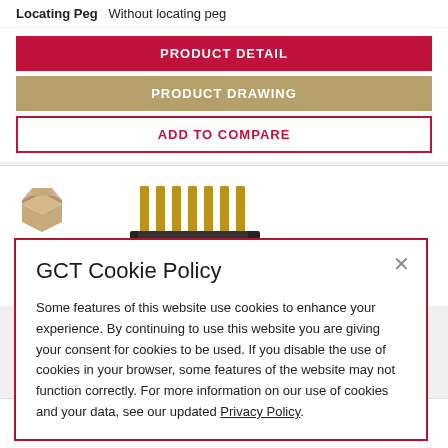Locating Peg  Without locating peg
PRODUCT DETAIL
PRODUCT DRAWING
ADD TO COMPARE
[Figure (photo): Gold pin header connector component, black housing with multiple gold pins, shown at an angle]
GCT Cookie Policy
Some features of this website use cookies to enhance your experience. By continuing to use this website you are giving your consent for cookies to be used. If you disable the use of cookies in your browser, some features of the website may not function correctly. For more information on our use of cookies and your data, see our updated Privacy Policy.
Number of Rows  Single
Elevated  No